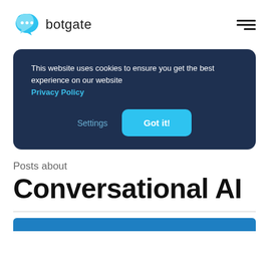[Figure (logo): Botgate logo: blue chat bubble icon with three dots, followed by text 'botgate' in dark color]
[Figure (other): Hamburger menu icon: three horizontal lines of varying width aligned to the right]
This website uses cookies to ensure you get the best experience on our website Privacy Policy
Settings
Got it!
Posts about
Conversational AI
[Figure (other): Blue banner strip at the bottom of the page]